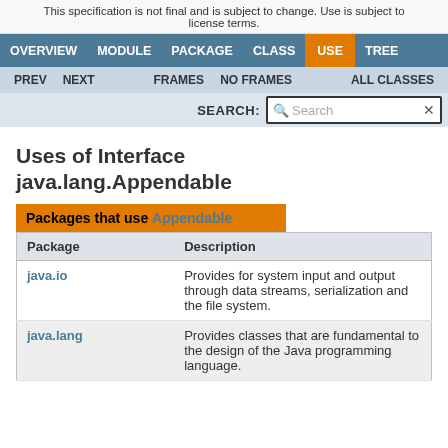This specification is not final and is subject to change. Use is subject to license terms.
OVERVIEW  MODULE  PACKAGE  CLASS  USE  TREE
PREV  NEXT  FRAMES  NO FRAMES  ALL CLASSES
SEARCH:  Search
Uses of Interface java.lang.Appendable
| Package | Description |
| --- | --- |
| java.io | Provides for system input and output through data streams, serialization and the file system. |
| java.lang | Provides classes that are fundamental to the design of the Java programming language. |